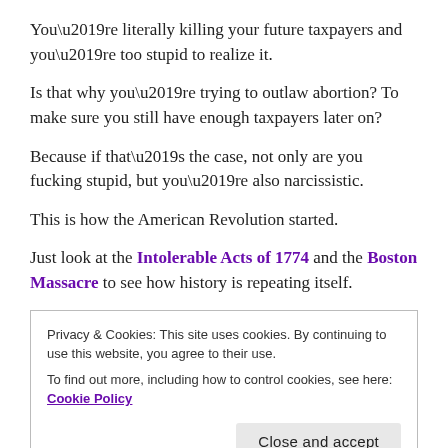You’re literally killing your future taxpayers and you’re too stupid to realize it.
Is that why you’re trying to outlaw abortion? To make sure you still have enough taxpayers later on?
Because if that’s the case, not only are you fucking stupid, but you’re also narcissistic.
This is how the American Revolution started.
Just look at the Intolerable Acts of 1774 and the Boston Massacre to see how history is repeating itself.
Privacy & Cookies: This site uses cookies. By continuing to use this website, you agree to their use.
To find out more, including how to control cookies, see here: Cookie Policy
Close and accept
resentment toward a regime that imposed heavy taxes—